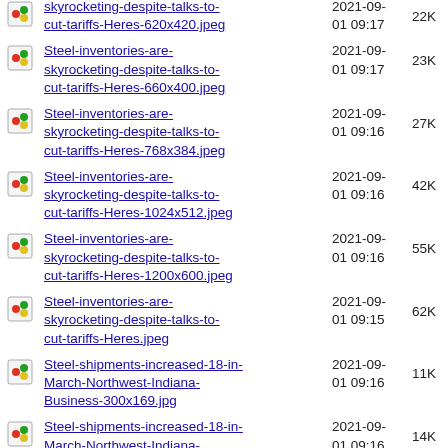Steel-inventories-are-skyrocketing-despite-talks-to-cut-tariffs-Heres-620x420.jpeg  2021-09-01 09:17  22K
Steel-inventories-are-skyrocketing-despite-talks-to-cut-tariffs-Heres-660x400.jpeg  2021-09-01 09:17  23K
Steel-inventories-are-skyrocketing-despite-talks-to-cut-tariffs-Heres-768x384.jpeg  2021-09-01 09:16  27K
Steel-inventories-are-skyrocketing-despite-talks-to-cut-tariffs-Heres-1024x512.jpeg  2021-09-01 09:16  42K
Steel-inventories-are-skyrocketing-despite-talks-to-cut-tariffs-Heres-1200x600.jpeg  2021-09-01 09:16  55K
Steel-inventories-are-skyrocketing-despite-talks-to-cut-tariffs-Heres.jpeg  2021-09-01 09:15  62K
Steel-shipments-increased-18-in-March-Northwest-Indiana-Business-300x169.jpg  2021-09-01 09:16  11K
Steel-shipments-increased-18-in-March-Northwest-Indiana-Business-320x218.jpg  2021-09-01 09:16  14K
Steel-shipments-increased-18-in-...